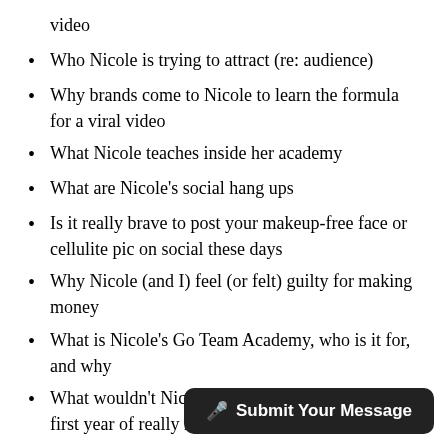video
Who Nicole is trying to attract (re: audience)
Why brands come to Nicole to learn the formula for a viral video
What Nicole teaches inside her academy
What are Nicole's social hang ups
Is it really brave to post your makeup-free face or cellulite pic on social these days
Why Nicole (and I) feel (or felt) guilty for making money
What is Nicole's Go Team Academy, who is it for, and why
What wouldn't Nicole do today that she did her first year of really making her mark
Where Nicole feels she will be five years from now
My challenge to Nicole on her video about depression
What does Nicole fee[l about her videos